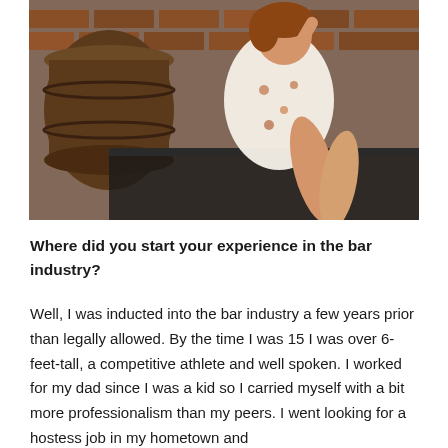[Figure (photo): A young woman in a white floral dress sitting in front of a brick wall with wooden barrels, posing with her arm raised.]
Where did you start your experience in the bar industry?
Well, I was inducted into the bar industry a few years prior than legally allowed. By the time I was 15 I was over 6-feet-tall, a competitive athlete and well spoken. I worked for my dad since I was a kid so I carried myself with a bit more professionalism than my peers. I went looking for a hostess job in my hometown and